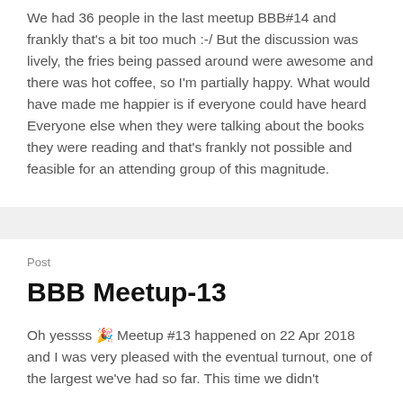We had 36 people in the last meetup BBB#14 and frankly that's a bit too much :-/ But the discussion was lively, the fries being passed around were awesome and there was hot coffee, so I'm partially happy. What would have made me happier is if everyone could have heard Everyone else when they were talking about the books they were reading and that's frankly not possible and feasible for an attending group of this magnitude.
Post
BBB Meetup-13
Oh yessss 🎉 Meetup #13 happened on 22 Apr 2018 and I was very pleased with the eventual turnout, one of the largest we've had so far. This time we didn't